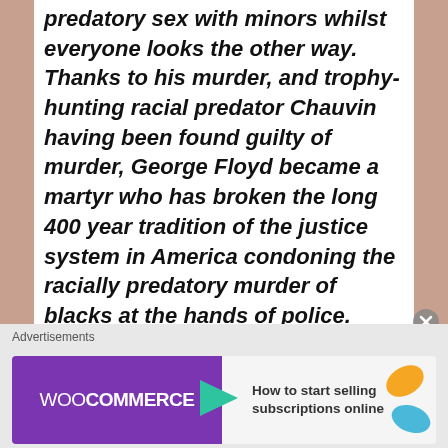predatory sex with minors whilst everyone looks the other way. Thanks to his murder, and trophy-hunting racial predator Chauvin having been found guilty of murder, George Floyd became a martyr who has broken the long 400 year tradition of the justice system in America condoning the racially predatory murder of blacks at the hands of police. Pluto in Capricorn indeed. The hijacked American justice system where blacks are corralled to spike the profit margins for BlackRock
Advertisements
[Figure (screenshot): WooCommerce advertisement banner with purple left side showing WooCommerce logo with teal arrow, and light right side with text 'How to start selling subscriptions online']